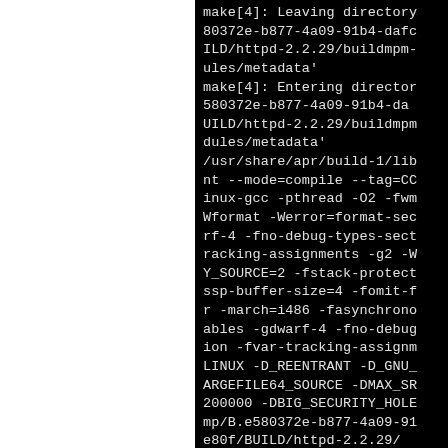make[4]: Leaving directory 80372e-b877-4a09-91b4-dafc ILD/httpd-2.2.29/buildmpm- ules/metadata' make[4]: Entering director 580372e-b877-4a09-91b4-da UILD/httpd-2.2.29/buildmpm dules/metadata' /usr/share/apr/build-1/lib nt --mode=compile --tag=CC inux-gcc -pthread -O2 -fwm Wformat -Werror=format-sec rf-4 -fno-debug-types-sect racking-assignments -g2 -W Y_SOURCE=2 -fstack-protect ssp-buffer-size=4 -fomit-f r -march=i486 -fasynchrono ables -gdwarf-4 -fno-debug ion -fvar-tracking-assignm LINUX -D_REENTRANT -D_GNU_ ARGEFILE64_SOURCE -DMAX_SR 200000 -DBIG_SECURITY_HOLE mp/B.e580372e-b877-4a09-91 e80f/BUILD/httpd-2.2.29/